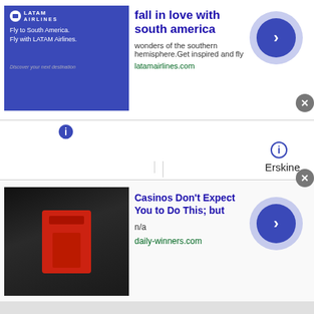[Figure (screenshot): Top advertisement banner: LATAM Airlines ad with blue background image, headline 'fall in love with south america', body text 'wonders of the southern hemisphere.Get inspired and fly', URL 'latamairlines.com', and a circular arrow button on the right]
Erskine
Mentor
Gully
McIntosh
Oklee
Minnesota
United States
Brooks
Plummer
[Figure (screenshot): Bottom advertisement banner: Casino ad with photo of person in red jacket, headline 'Casinos Don't Expect You to Do This; but', body 'n/a', URL 'daily-winners.com', and a circular arrow button on the right]